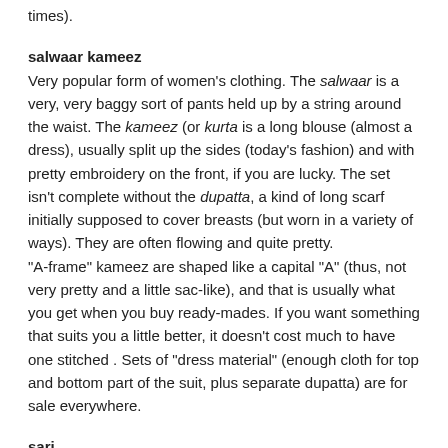times).
salwaar kameez
Very popular form of women's clothing. The salwaar is a very, very baggy sort of pants held up by a string around the waist. The kameez (or kurta is a long blouse (almost a dress), usually split up the sides (today's fashion) and with pretty embroidery on the front, if you are lucky. The set isn't complete without the dupatta, a kind of long scarf initially supposed to cover breasts (but worn in a variety of ways). They are often flowing and quite pretty.
"A-frame" kameez are shaped like a capital "A" (thus, not very pretty and a little sac-like), and that is usually what you get when you buy ready-mades. If you want something that suits you a little better, it doesn't cost much to have one stitched . Sets of "dress material" (enough cloth for top and bottom part of the suit, plus separate dupatta) are for sale everywhere.
sari
Traditional woman's dress. A piece of cloth usually 6 yards long by a bit more than a metre wide. It is tucked into the petticoat around the body, pleats are made on the front to allow walking, and the remainder of the sari comes up over the front of the